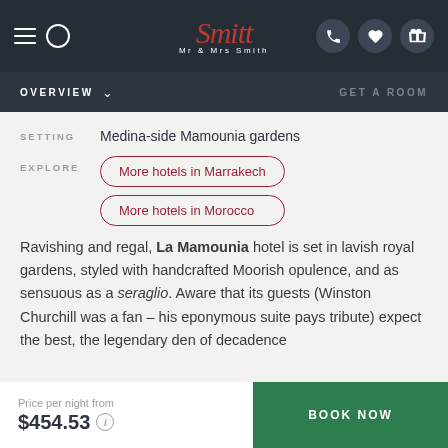Mr & Mrs Smith — Navigation: OVERVIEW | GET A ROOM
SETTING   Medina-side Mamounia gardens
EXPLORE   More hotels in Marrakech | More hotels in Morocco
Ravishing and regal, La Mamounia hotel is set in lavish royal gardens, styled with handcrafted Moorish opulence, and as sensuous as a seraglio. Aware that its guests (Winston Churchill was a fan – his eponymous suite pays tribute) expect the best, the legendary den of decadence
Price per night from $454.53   BOOK NOW